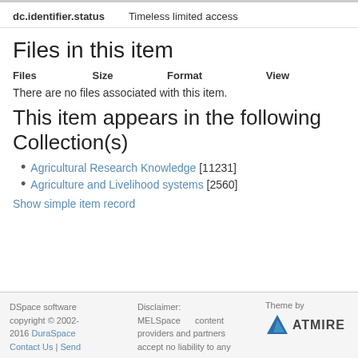| dc.identifier.status | Timeless limited access |
| --- | --- |
Files in this item
| Files | Size | Format | View |
| --- | --- | --- | --- |
There are no files associated with this item.
This item appears in the following Collection(s)
Agricultural Research Knowledge [11231]
Agriculture and Livelihood systems [2560]
Show simple item record
DSpace software copyright © 2002-2016 DuraSpace Contact Us | Send
Disclaimer: MELSpace content providers and partners accept no liability to any
Theme by ATMIRE